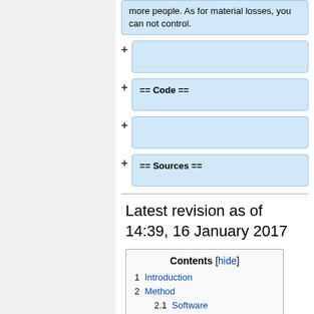more people. As for material losses, you can not control.
+ (empty diff box)
+ == Code ==
+ (empty diff box)
+ == Sources ==
Latest revision as of 14:39, 16 January 2017
| Contents [hide] |
| --- |
| 1  Introduction |
| 2  Method |
| 2.1  Software |
| 2.2  Simulation Details |